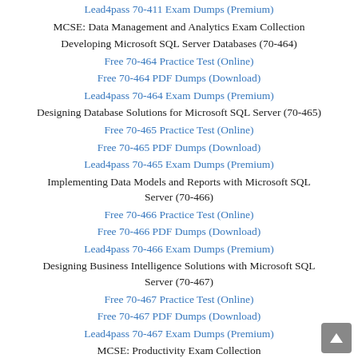Lead4pass 70-411 Exam Dumps (Premium)
MCSE: Data Management and Analytics Exam Collection
Developing Microsoft SQL Server Databases (70-464)
Free 70-464 Practice Test (Online)
Free 70-464 PDF Dumps (Download)
Lead4pass 70-464 Exam Dumps (Premium)
Designing Database Solutions for Microsoft SQL Server (70-465)
Free 70-465 Practice Test (Online)
Free 70-465 PDF Dumps (Download)
Lead4pass 70-465 Exam Dumps (Premium)
Implementing Data Models and Reports with Microsoft SQL Server (70-466)
Free 70-466 Practice Test (Online)
Free 70-466 PDF Dumps (Download)
Lead4pass 70-466 Exam Dumps (Premium)
Designing Business Intelligence Solutions with Microsoft SQL Server (70-467)
Free 70-467 Practice Test (Online)
Free 70-467 PDF Dumps (Download)
Lead4pass 70-467 Exam Dumps (Premium)
MCSE: Productivity Exam Collection
Deploying Enterprise Voice with Skype for Business 2015 (70-